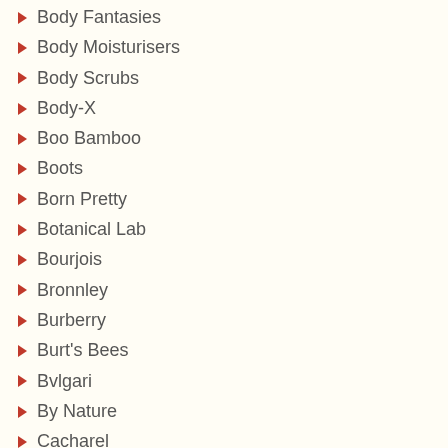Body Fantasies
Body Moisturisers
Body Scrubs
Body-X
Boo Bamboo
Boots
Born Pretty
Botanical Lab
Bourjois
Bronnley
Burberry
Burt's Bees
Bvlgari
By Nature
Cacharel
Café de Bain
Calcot Manor
Calvin Klein
Caolion
Care Bears